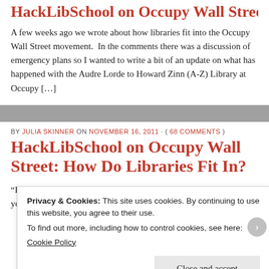HackLibSchool on Occupy Wall Street: Part II
A few weeks ago we wrote about how libraries fit into the Occupy Wall Street movement.  In the comments there was a discussion of emergency plans so I wanted to write a bit of an update on what has happened with the Audre Lorde to Howard Zinn (A-Z) Library at Occupy [...]
BY JULIA SKINNER ON NOVEMBER 16, 2011 · ( 68 COMMENTS )
HackLibSchool on Occupy Wall Street: How Do Libraries Fit In?
“I learned that the most important thing about teaching is not what you do in the classroom but what you do outside the
Privacy & Cookies: This site uses cookies. By continuing to use this website, you agree to their use.
To find out more, including how to control cookies, see here:
Cookie Policy

Close and accept